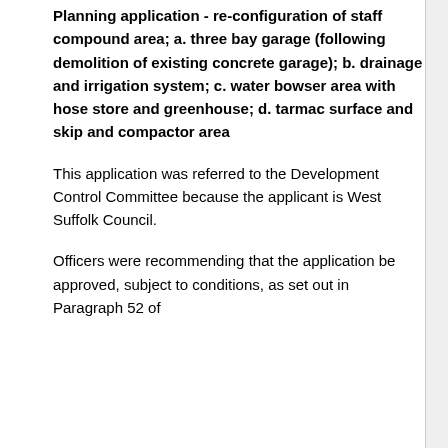Planning application - re-configuration of staff compound area; a. three bay garage (following demolition of existing concrete garage); b. drainage and irrigation system; c. water bowser area with hose store and greenhouse; d. tarmac surface and skip and compactor area
This application was referred to the Development Control Committee because the applicant is West Suffolk Council.
Officers were recommending that the application be approved, subject to conditions, as set out in Paragraph 52 of